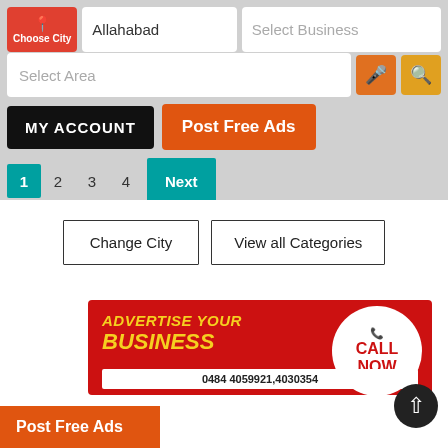[Figure (screenshot): Choose City button with location pin icon, red background]
Allahabad
Select Business
Select Area
MY ACCOUNT
Post Free Ads
1  2  3  4  Next
Change City
View all Categories
[Figure (infographic): Red advertisement banner: ADVERTISE YOUR BUSINESS with CALL NOW bubble and phone number 0484 4059921,4030354]
Post Free Ads